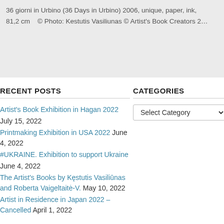36 giorni in Urbino (36 Days in Urbino) 2006, unique, paper, ink, 81,2 cm   © Photo: Kestutis Vasiliunas © Artist's Book Creators 2…
RECENT POSTS
CATEGORIES
Artist's Book Exhibition in Hagan 2022 July 15, 2022
Printmaking Exhibition in USA 2022 June 4, 2022
#UKRAINE. Exhibition to support Ukraine June 4, 2022
The Artist's Books by Kęstutis Vasiliūnas and Roberta Vaigeltaitė-V. May 10, 2022
Artist in Residence in Japan 2022 – Cancelled April 1, 2022